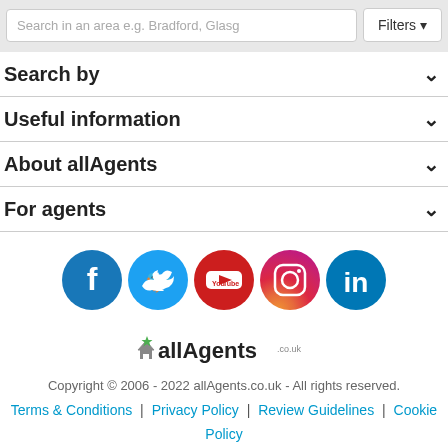Search in an area e.g. Bradford, Glasgow
Filters
Search by
Useful information
About allAgents
For agents
[Figure (logo): Social media icons: Facebook, Twitter, YouTube, Instagram, LinkedIn]
[Figure (logo): allAgents logo with house and star icon]
Copyright © 2006 - 2022 allAgents.co.uk - All rights reserved.
Terms & Conditions | Privacy Policy | Review Guidelines | Cookie Policy
WRITE A REVIEW
GET VALUATION
CONTACT AGENT
GET AN ONLINE VALUATION